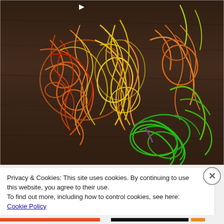[Figure (photo): A tangled pile of colorful rubber bands or strings in orange, yellow, green, and red colors on a dark brown wooden surface.]
Privacy & Cookies: This site uses cookies. By continuing to use this website, you agree to their use.
To find out more, including how to control cookies, see here: Cookie Policy
Close and accept